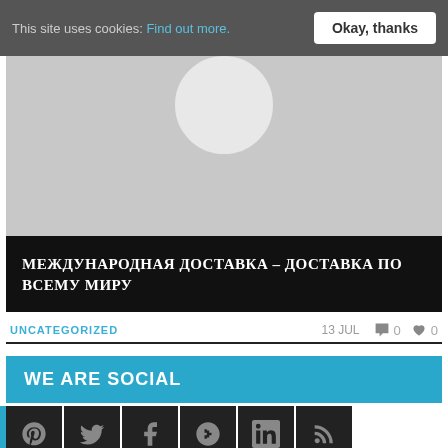This site uses cookies: Find out more.  [Okay, thanks]
[Figure (photo): Gray image area with a circular avatar/profile image at the top center, partially visible]
МЕЖДУНАРОДНАЯ ДОСТАВКА – ДОСТАВКА ПО ВСЕМУ МИРУ
UNCATEGORIZED   13 JUL   0   0
WE ARE SOCIAL
[Figure (infographic): Row of 6 dark square social media icon buttons: Pinterest, Twitter, Facebook, Google+, LinkedIn, RSS]